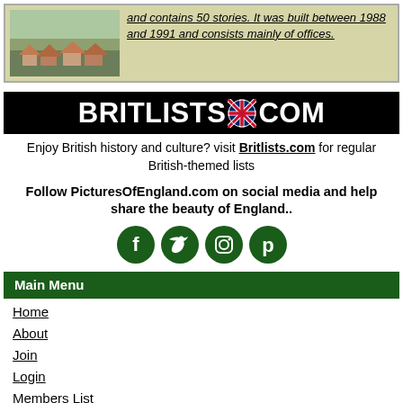[Figure (photo): Top banner with a photo of a town/rooftop scene on the left and italic underlined text on the right reading: 'and contains 50 stories. It was built between 1988 and 1991 and consists mainly of offices.']
[Figure (logo): BRITLISTS.COM logo banner — white bold text on black background with a UK flag icon between the dot and COM]
Enjoy British history and culture? visit Britlists.com for regular British-themed lists
Follow PicturesOfEngland.com on social media and help share the beauty of England..
[Figure (illustration): Four circular dark green social media icons: Facebook, Twitter, Instagram, Pinterest]
Main Menu
Home
About
Join
Login
Members List
Upload Images
Latest Pictures
Latest Favourite Pictures
Contact